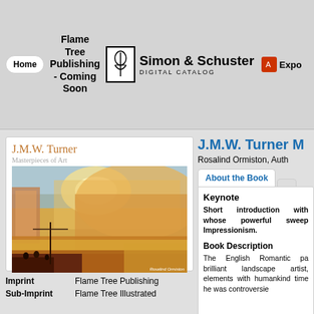Flame Tree Publishing - Coming Soon | Simon & Schuster DIGITAL CATALOG | Export
J.M.W. Turner M
Rosalind Ormiston, Auth
[Figure (photo): Book cover of J.M.W. Turner Masterpieces of Art — painting of a dramatic golden and orange Romantic landscape with water, featuring Turner's atmospheric style]
About the Book
Keynote
Short introduction with whose powerful sweep Impressionism.
Book Description
The English Romantic pa brilliant landscape artist, elements with humankind time he was controversie
| Imprint | Flame Tree Publishing |
| Sub-Imprint | Flame Tree Illustrated |